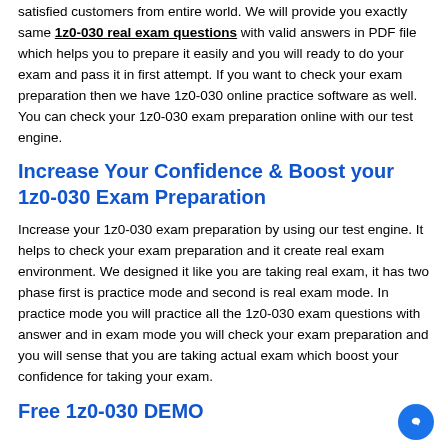satisfied customers from entire world. We will provide you exactly same 1z0-030 real exam questions with valid answers in PDF file which helps you to prepare it easily and you will ready to do your exam and pass it in first attempt. If you want to check your exam preparation then we have 1z0-030 online practice software as well. You can check your 1z0-030 exam preparation online with our test engine.
Increase Your Confidence & Boost your 1z0-030 Exam Preparation
Increase your 1z0-030 exam preparation by using our test engine. It helps to check your exam preparation and it create real exam environment. We designed it like you are taking real exam, it has two phase first is practice mode and second is real exam mode. In practice mode you will practice all the 1z0-030 exam questions with answer and in exam mode you will check your exam preparation and you will sense that you are taking actual exam which boost your confidence for taking your exam.
Free 1z0-030 DEMO